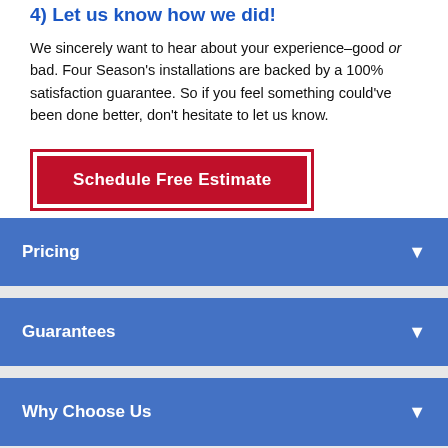4) Let us know how we did!
We sincerely want to hear about your experience–good or bad. Four Season's installations are backed by a 100% satisfaction guarantee. So if you feel something could've been done better, don't hesitate to let us know.
[Figure (other): Red CTA button labeled 'Schedule Free Estimate']
Pricing
Guarantees
Why Choose Us